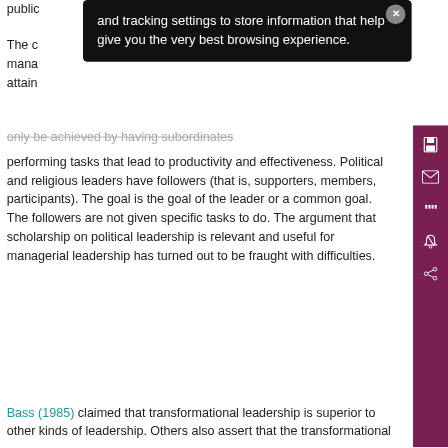public
[Figure (screenshot): Dark tooltip overlay with white text reading: 'and tracking settings to store information that help give you the very best browsing experience.' with a close (x) button in top right corner]
The c[ookie settings on this website are set to 'allow cookies' to give you the very best experience. If you continue without changing these settings, you consent to this – but if you want, you can change your] mana[gement] attain[ment can be] only be achieved by having subordinates performing tasks that lead to productivity and effectiveness. Political and religious leaders have followers (that is, supporters, members, participants). The goal is the goal of the leader or a common goal. The followers are not given specific tasks to do. The argument that scholarship on political leadership is relevant and useful for managerial leadership has turned out to be fraught with difficulties.
Bass (1985) claimed that transformational leadership is superior to other kinds of leadership. Others also assert that the transformational